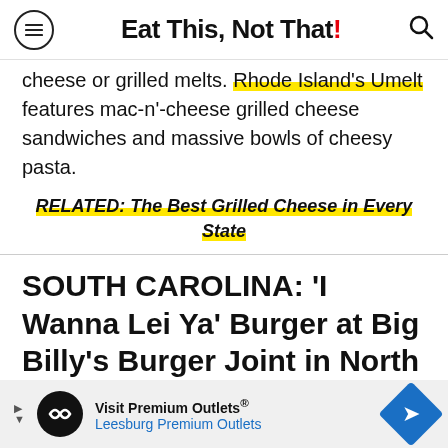Eat This, Not That!
cheese or grilled melts. Rhode Island's Umelt features mac-n'-cheese grilled cheese sandwiches and massive bowls of cheesy pasta.
RELATED: The Best Grilled Cheese in Every State
SOUTH CAROLINA: 'I Wanna Lei Ya' Burger at Big Billy's Burger Joint in North Charleston
[Figure (other): Advertisement banner for Visit Premium Outlets / Leesburg Premium Outlets]